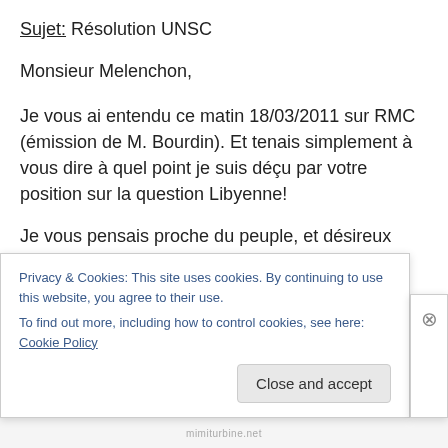Sujet: Résolution UNSC
Monsieur Melenchon,
Je vous ai entendu ce matin 18/03/2011 sur RMC (émission de M. Bourdin). Et tenais simplement à vous dire à quel point je suis déçu par votre position sur la question Libyenne!
Je vous pensais proche du peuple, et désireux d'œuvrer pour ce dernier, en dénonçant les manipulations incessantes auxquelles se prêtent nos medias.
Privacy & Cookies: This site uses cookies. By continuing to use this website, you agree to their use.
To find out more, including how to control cookies, see here: Cookie Policy